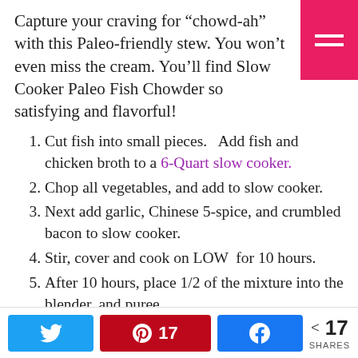Capture your craving for “chowd-ah” with this Paleo-friendly stew. You won’t even miss the cream. You’ll find Slow Cooker Paleo Fish Chowder so satisfying and flavorful!
Cut fish into small pieces.  Add fish and chicken broth to a 6-Quart slow cooker.
Chop all vegetables, and add to slow cooker.
Next add garlic, Chinese 5-spice, and crumbled bacon to slow cooker.
Stir, cover and cook on LOW  for 10 hours.
After 10 hours, place 1/2 of the mixture into the blender, and puree.
Add puree back to slow cooker.
Pour in coconut milk, salt and pepper to taste.
Re-cover and cook on LOW 1/2 hour longer.
< 17 SHARES